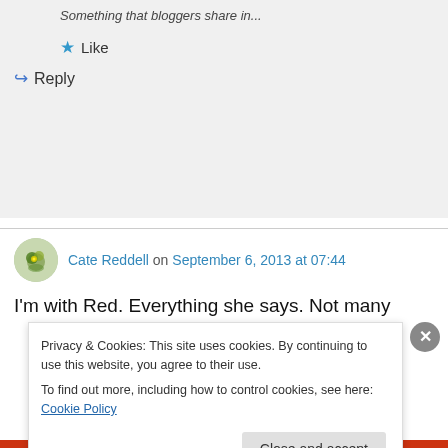something that bloggers share in...
★ Like
↪ Reply
Cate Reddell on September 6, 2013 at 07:44
I'm with Red. Everything she says. Not many
Privacy & Cookies: This site uses cookies. By continuing to use this website, you agree to their use. To find out more, including how to control cookies, see here: Cookie Policy
Close and accept